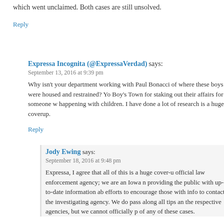which went unclaimed. Both cases are still unsolved.
Reply
Expressa Incognita (@ExpressaVerdad) says:
September 13, 2016 at 9:39 pm
Why isn't your department working with Paul Bonacci of where these boys were housed and restrained? Yo Boy's Town for staking out their affairs for someone w happening with children. I have done a lot of research is a huge coverup.
Reply
Jody Ewing says:
September 18, 2016 at 9:48 pm
Expressa, I agree that all of this is a huge cover-u official law enforcement agency; we are an Iowa n providing the public with up-to-date information ab efforts to encourage those with info to contact the investigating agency. We do pass along all tips an the respective agencies, but we cannot officially p of any of these cases.